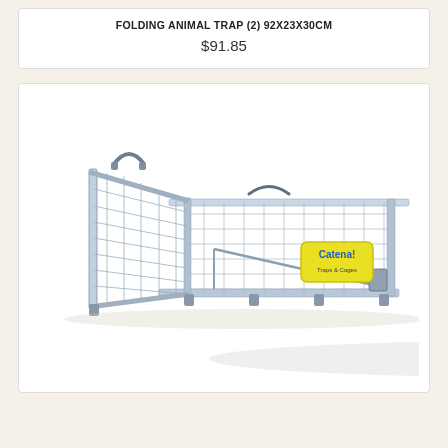FOLDING ANIMAL TRAP (2) 92x23x30cm
$91.85
[Figure (photo): A large wire cage animal trap with galvanized steel wire mesh construction, folding design, with a Catena brand label on the side. The trap is rectangular and elongated with a drop door at one end and a trigger mechanism inside.]